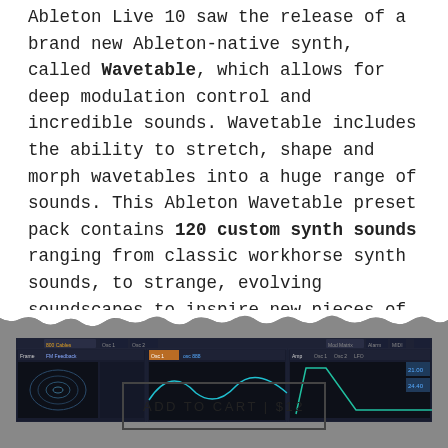Ableton Live 10 saw the release of a brand new Ableton-native synth, called Wavetable, which allows for deep modulation control and incredible sounds. Wavetable includes the ability to stretch, shape and morph wavetables into a huge range of sounds. This Ableton Wavetable preset pack contains 120 custom synth sounds ranging from classic workhorse synth sounds, to strange, evolving soundscapes to inspire new pieces of music.
[Figure (screenshot): Screenshot of Ableton Live Wavetable synthesizer plugin interface showing oscillator panels and modulation controls]
ADD TO CART | $12